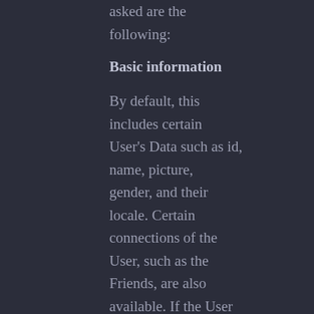asked are the following:
Basic information
By default, this includes certain User's Data such as id, name, picture, gender, and their locale. Certain connections of the User, such as the Friends, are also available. If the User has made more of